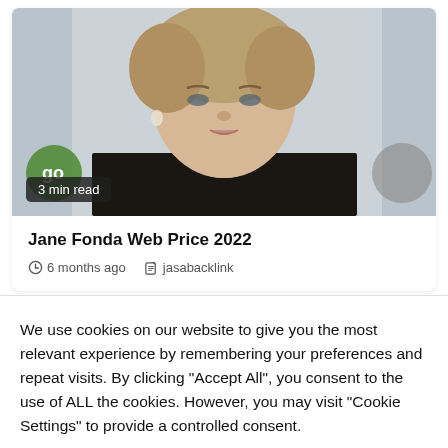[Figure (photo): Portrait photo of Jane Fonda wearing a black blazer, with short blonde hair, at an event. A '3 min read' badge overlays the bottom-left of the image.]
Jane Fonda Web Price 2022
6 months ago   jasabacklink
We use cookies on our website to give you the most relevant experience by remembering your preferences and repeat visits. By clicking "Accept All", you consent to the use of ALL the cookies. However, you may visit "Cookie Settings" to provide a controlled consent.
Cookie Settings   Accept All